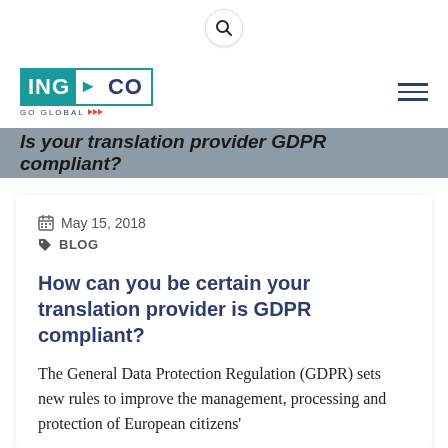🔍
[Figure (logo): ING>CO GO GLOBAL logo with teal and navy colors]
Is your translation provider GDPR compliant?
May 15, 2018
BLOG
How can you be certain your translation provider is GDPR compliant?
The General Data Protection Regulation (GDPR) sets new rules to improve the management, processing and protection of European citizens'